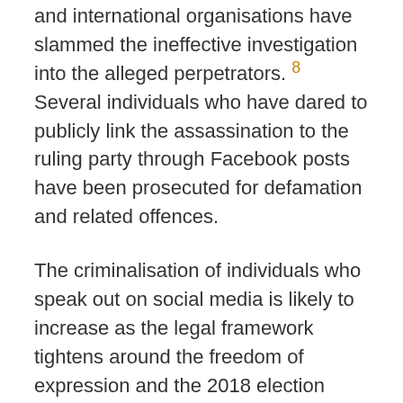and international organisations have slammed the ineffective investigation into the alleged perpetrators. 8 Several individuals who have dared to publicly link the assassination to the ruling party through Facebook posts have been prosecuted for defamation and related offences.
The criminalisation of individuals who speak out on social media is likely to increase as the legal framework tightens around the freedom of expression and the 2018 election draws closer. The space for freedom of expression was already not up to international standards, but recent legislative developments such as the Law on Telecommunications adopted in 2015 have acted to further restrict this space.